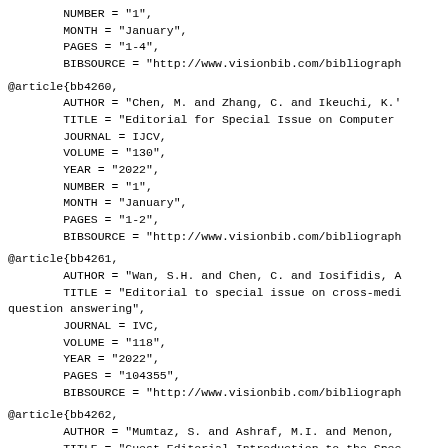NUMBER = "1",
        MONTH = "January",
        PAGES = "1-4",
        BIBSOURCE = "http://www.visionbib.com/bibliograph
@article{bb4260,
        AUTHOR = "Chen, M. and Zhang, C. and Ikeuchi, K."
        TITLE = "Editorial for Special Issue on Computer
        JOURNAL = IJCV,
        VOLUME = "130",
        YEAR = "2022",
        NUMBER = "1",
        MONTH = "January",
        PAGES = "1-2",
        BIBSOURCE = "http://www.visionbib.com/bibliograph
@article{bb4261,
        AUTHOR = "Wan, S.H. and Chen, C. and Iosifidis, A
        TITLE = "Editorial to special issue on cross-medi
question answering",
        JOURNAL = IVC,
        VOLUME = "118",
        YEAR = "2022",
        PAGES = "104355",
        BIBSOURCE = "http://www.visionbib.com/bibliograph
@article{bb4262,
        AUTHOR = "Mumtaz, S. and Ashraf, M.I. and Menon,
        TITLE = "Guest Editorial Introduction to the Spec
Autonomous Transportation System With 6G",